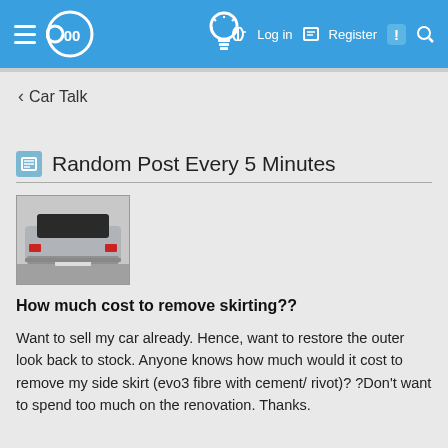≡ 00 [lightbulb icon] [key icon] Log in [document icon] Register [!] [search icon]
< Car Talk
Random Post Every 5 Minutes
[Figure (photo): Rear view of a silver car with side skirting visible]
How much cost to remove skirting??
Want to sell my car already. Hence, want to restore the outer look back to stock. Anyone knows how much would it cost to remove my side skirt (evo3 fibre with cement/ rivot)? ?Don't want to spend too much on the renovation. Thanks.